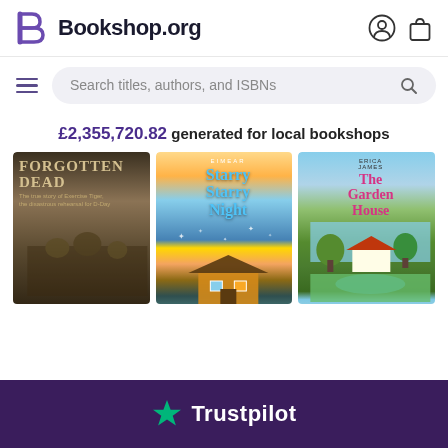Bookshop.org
Search titles, authors, and ISBNs
£2,355,720.82 generated for local bookshops
[Figure (screenshot): Three book covers displayed in a row: 'Forgotten Dead' (WWII history), 'Starry Starry Night' (romance/fiction), and 'The Garden House' (fiction). Partial covers visible.]
Trustpilot